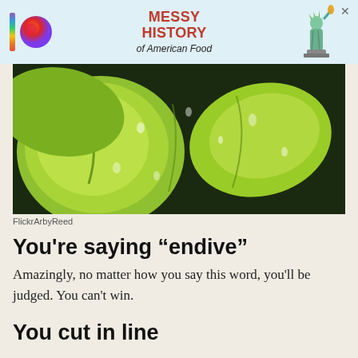[Figure (other): Advertisement banner for 'Messy History of American Food' showing colorful logo with vertical bar and circle, red bold text, and Statue of Liberty illustration on blue background]
[Figure (photo): Close-up photo of green endive vegetables with water droplets on a dark background]
FlickrArbyReed
You’re saying “endive”
Amazingly, no matter how you say this word, you’ll be judged. You can’t win.
You cut in line